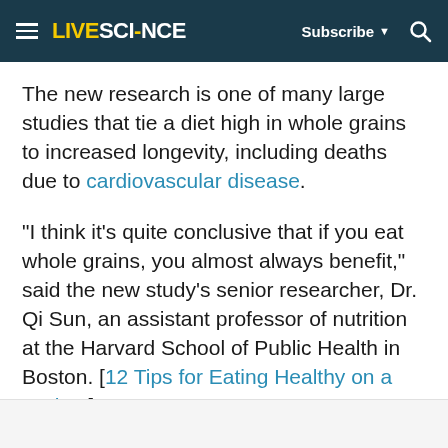LIVESCIENCE  Subscribe  [search]
The new research is one of many large studies that tie a diet high in whole grains to increased longevity, including deaths due to cardiovascular disease.
"I think it's quite conclusive that if you eat whole grains, you almost always benefit," said the new study's senior researcher, Dr. Qi Sun, an assistant professor of nutrition at the Harvard School of Public Health in Boston. [12 Tips for Eating Healthy on a Budget]